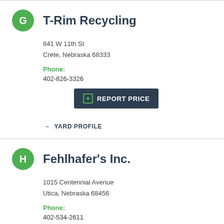T-Rim Recycling
841 W 11th St
Crete, Nebraska 68333
Phone:
402-826-3326
REPORT PRICE
→ YARD PROFILE
Fehlhafer's Inc.
1015 Centennial Avenue
Utica, Nebraska 68456
Phone:
402-534-2611